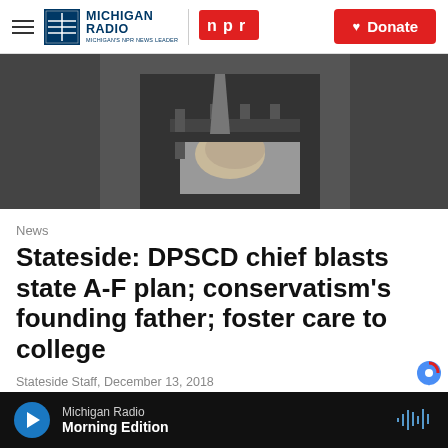Michigan Radio NPR | Donate
[Figure (photo): Black and white photo of a person in a suit holding what appears to be a machine gun or mechanical device]
News
Stateside: DPSCD chief blasts state A-F plan; conservatism's founding father; foster care to college
Stateside Staff, December 13, 2018
Michigan Radio Morning Edition